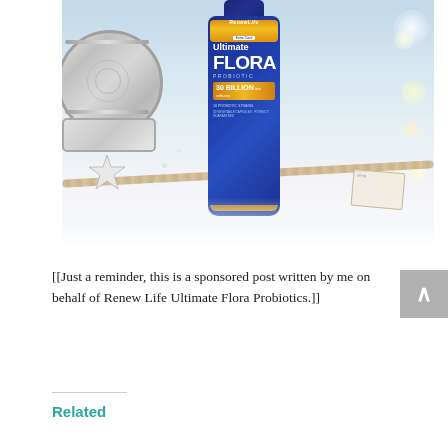[Figure (photo): Photo of a RenewLife Ultimate Flora Probiotic 30 Billion bottle (blue and gold label) surrounded by silver holiday decorations, rope, and star ornaments on a light surface with bokeh lighting in the background.]
[[Just a reminder, this is a sponsored post written by me on behalf of Renew Life Ultimate Flora Probiotics.]]
Related